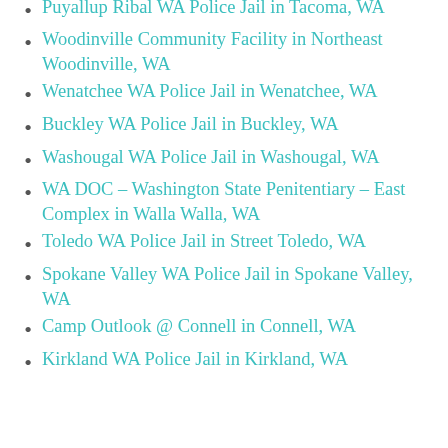WA
Puyallup Ribal WA Police Jail in Tacoma, WA
Woodinville Community Facility in Northeast Woodinville, WA
Wenatchee WA Police Jail in Wenatchee, WA
Buckley WA Police Jail in Buckley, WA
Washougal WA Police Jail in Washougal, WA
WA DOC – Washington State Penitentiary – East Complex in Walla Walla, WA
Toledo WA Police Jail in Street Toledo, WA
Spokane Valley WA Police Jail in Spokane Valley, WA
Camp Outlook @ Connell in Connell, WA
Kirkland WA Police Jail in Kirkland, WA